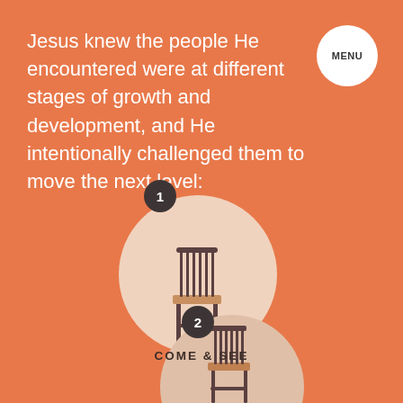Jesus knew the people He encountered were at different stages of growth and development, and He intentionally challenged them to move the next level:
[Figure (infographic): Circle 1 with a chair icon labeled 'COME & SEE', numbered badge 1 on top left of circle. Circle 2 partially visible at bottom with chair icon and badge number 2.]
COME & SEE